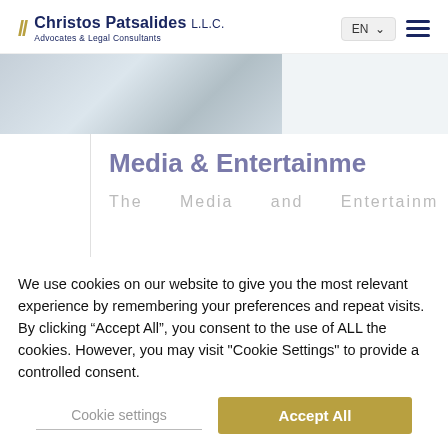Christos Patsalides L.L.C. Advocates & Legal Consultants
[Figure (photo): Hero banner image showing a blurred architectural/office background, left two-thirds of page]
Media & Entertainment
The Media and Entertainment
We use cookies on our website to give you the most relevant experience by remembering your preferences and repeat visits. By clicking "Accept All", you consent to the use of ALL the cookies. However, you may visit "Cookie Settings" to provide a controlled consent.